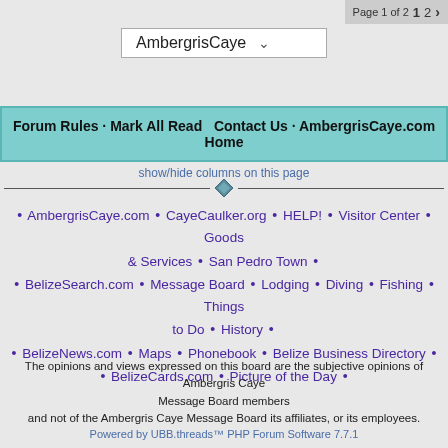Page 1 of 2  1  2  >
AmbergrisCaye
show/hide columns on this page
Forum Rules · Mark All Read    Contact Us · AmbergrisCaye.com Home
• AmbergrisCaye.com • CayeCaulker.org • HELP! • Visitor Center • Goods & Services • San Pedro Town • • BelizeSearch.com • Message Board • Lodging • Diving • Fishing • Things to Do • History • • BelizeNews.com • Maps • Phonebook • Belize Business Directory • • BelizeCards.com • Picture of the Day •
The opinions and views expressed on this board are the subjective opinions of Ambergris Caye Message Board members and not of the Ambergris Caye Message Board its affiliates, or its employees.
Powered by UBB.threads™ PHP Forum Software 7.7.1